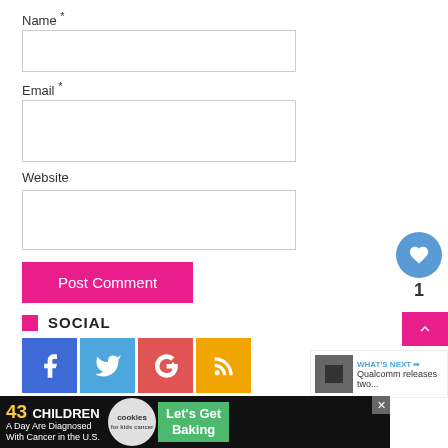Name *
Email *
Website
Post Comment
SOCIAL
[Figure (infographic): Social media icons: Facebook (blue), Twitter (light blue), Google+ (red), RSS (orange)]
LATEST REVIEWS
[Figure (infographic): Advertisement banner: 43 Children A Day Are Diagnosed With Cancer in the U.S. - Cookies for kids cancer - Let's Get Baking]
[Figure (infographic): Floating like button (blue circle with heart icon) showing count of 1, and a pink scroll-to-top button with up arrow]
[Figure (infographic): What's Next arrow with thumbnail showing Qualcomm releases two...]